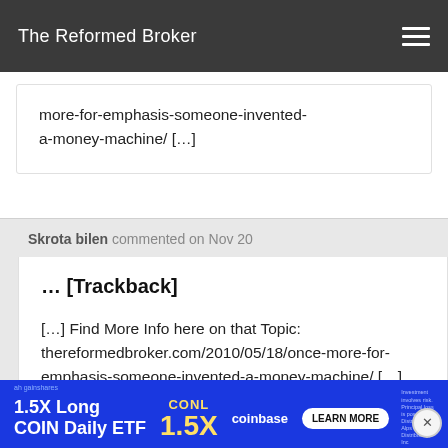The Reformed Broker
more-for-emphasis-someone-invented-a-money-machine/ [...]
Skrota bilen commented on Nov 20
... [Trackback]
[...] Find More Info here on that Topic: thereformedbroker.com/2010/05/18/once-more-for-emphasis-someone-invented-a-money-machine/ [...]
[Figure (screenshot): Blue advertisement banner for '1.5X Long COIN Daily ETF' (CONL) from GainShares, referencing coinbase, with LEARN MORE button]